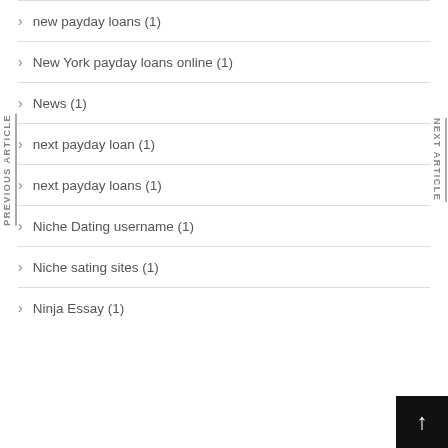new payday loans (1)
New York payday loans online (1)
News (1)
next payday loan (1)
next payday loans (1)
Niche Dating username (1)
Niche sating sites (1)
Ninja Essay (1)